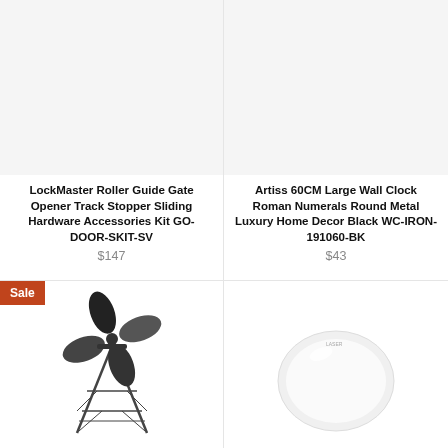[Figure (photo): Product image placeholder (light gray background) for LockMaster Roller Guide Gate Opener Track Stopper Sliding Hardware Accessories Kit]
LockMaster Roller Guide Gate Opener Track Stopper Sliding Hardware Accessories Kit GO-DOOR-SKIT-SV
$147
[Figure (photo): Product image placeholder (light gray background) for Artiss 60CM Large Wall Clock Roman Numerals Round Metal Luxury Home Decor Black]
Artiss 60CM Large Wall Clock Roman Numerals Round Metal Luxury Home Decor Black WC-IRON-191060-BK
$43
Sale
[Figure (photo): Windmill decorative product image on white background]
[Figure (photo): White bowl or round object product image on white background]